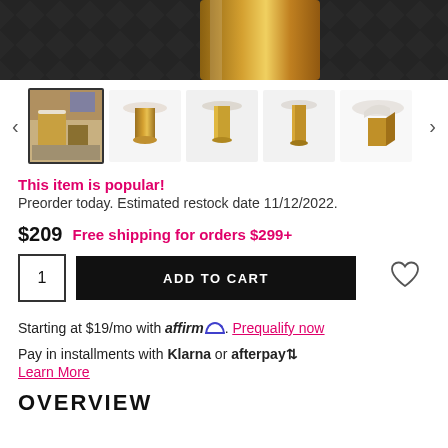[Figure (photo): Product hero image: gold/brass cylindrical side table on dark herringbone floor]
[Figure (photo): Thumbnail carousel with 5 product images of gold cylindrical side table with marble top, navigation arrows on left and right]
This item is popular! Preorder today. Estimated restock date 11/12/2022.
$209 Free shipping for orders $299+
1 ADD TO CART (with heart/wishlist icon)
Starting at $19/mo with affirm. Prequalify now
Pay in installments with Klarna or afterpay. Learn More
OVERVIEW